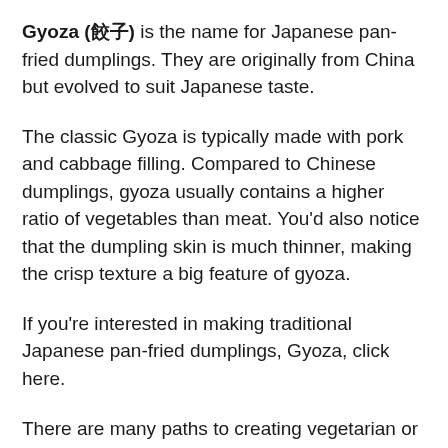Gyoza (餃子) is the name for Japanese pan-fried dumplings. They are originally from China but evolved to suit Japanese taste.
The classic Gyoza is typically made with pork and cabbage filling. Compared to Chinese dumplings, gyoza usually contains a higher ratio of vegetables than meat. You'd also notice that the dumpling skin is much thinner, making the crisp texture a big feature of gyoza.
If you're interested in making traditional Japanese pan-fried dumplings, Gyoza, click here.
There are many paths to creating vegetarian or vegan dumplings. The general rule is to use ingredients with different textures. Also, ingredients such as mushrooms can make a big difference in adding umami, so you can create a satisfying flavor, even without meat.